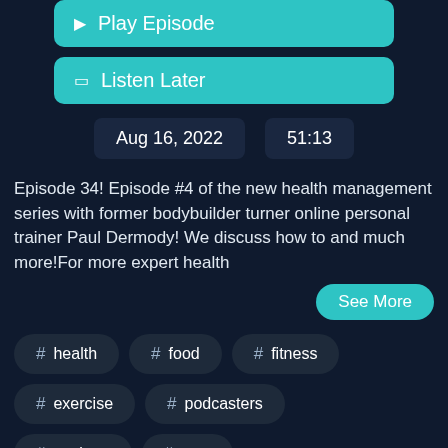Play Episode
Listen Later
Aug 16, 2022   51:13
Episode 34! Episode #4 of the new health management series with former bodybuilder turner online personal trainer Paul Dermody! We discuss how to and much more!For more expert health
See More
# health
# food
# fitness
# exercise
# podcasters
# workout
# gym